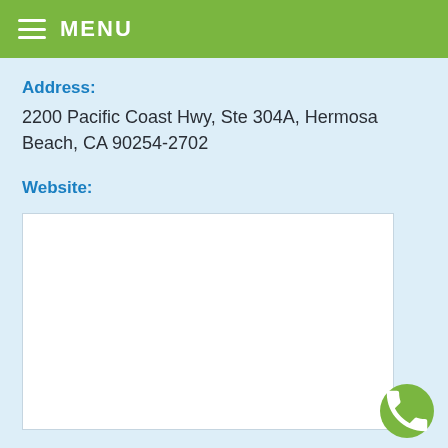MENU
Address:
2200 Pacific Coast Hwy, Ste 304A, Hermosa Beach, CA 90254-2702
Website:
[Figure (other): White rectangular content box placeholder for website content]